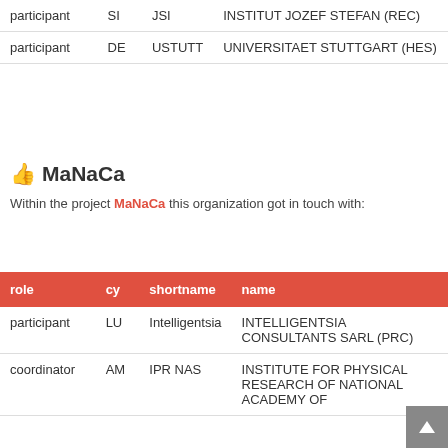| role | cy | shortname | name |
| --- | --- | --- | --- |
| participant | SI | JSI | INSTITUT JOZEF STEFAN (REC) |
| participant | DE | USTUTT | UNIVERSITAET STUTTGART (HES) |
MaNaCa
Within the project MaNaCa this organization got in touch with:
| role | cy | shortname | name |
| --- | --- | --- | --- |
| participant | LU | Intelligentsia | INTELLIGENTSIA CONSULTANTS SARL (PRC) |
| coordinator | AM | IPR NAS | INSTITUTE FOR PHYSICAL RESEARCH OF NATIONAL ACADEMY OF |